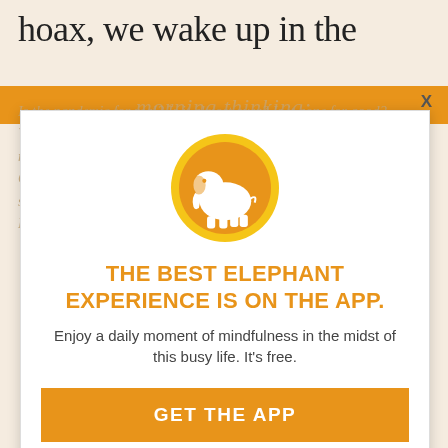hoax, we wake up in the
morning thinking:
Is the pandemic for real? Is it almost over? Is it gone for good? What's real and not real? If I get it, I won't get that sick anyway. I might as well get that new job. And my relationship. And wherever. Go to my elephants... the CDC. What is the CDC saying and not saying? And how can one nudge try to overpower... and the President of the United States. What is going on here?
[Figure (logo): Elephant Journal app logo: white elephant silhouette on orange circle with yellow border]
THE BEST ELEPHANT EXPERIENCE IS ON THE APP.
Enjoy a daily moment of mindfulness in the midst of this busy life. It's free.
GET THE APP
OPEN IN APP